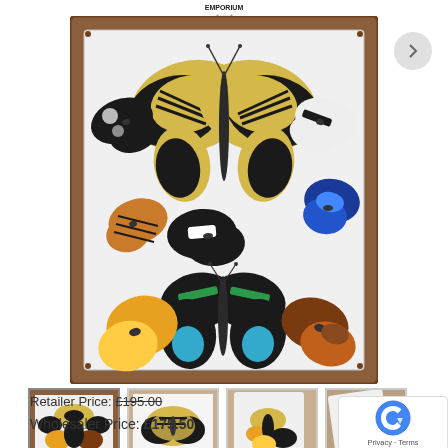[Figure (photo): Framed butterfly collection display box with wooden frame containing multiple pinned butterflies of various species and colors including swallowtail, morpho, yellow butterflies, and others against a white background]
[Figure (photo): Thumbnail 1: Same butterfly collection box, active/selected]
[Figure (photo): Thumbnail 2: Close-up detail of swallowtail butterfly]
[Figure (photo): Thumbnail 3: Side angle view of butterfly collection box]
[Figure (photo): Thumbnail 4: Side view of the framed butterfly collection]
Retailer Price: £195.00
Wholesaler Price: £175.50